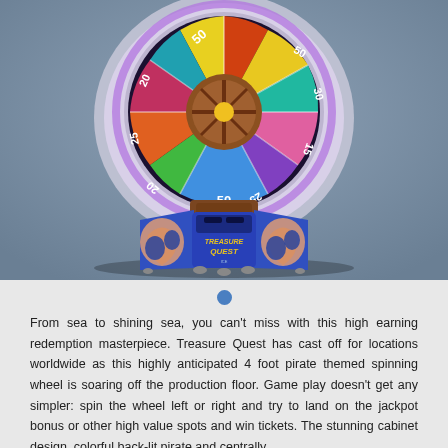[Figure (photo): 3D rendered image of Treasure Quest arcade redemption game machine. A large colorful spinning wheel sits on top showing segments with numbers: 50, 50, 30, 15, 25, 20, and 50. The wheel has a pirate theme with a skull and crossbones design in the center. Below is a blue cabinet with pirate treasure map artwork on the sides and 'Treasure Quest' branding on the front display. The background is a muted blue-grey gradient.]
From sea to shining sea, you can't miss with this high earning redemption masterpiece. Treasure Quest has cast off for locations worldwide as this highly anticipated 4 foot pirate themed spinning wheel is soaring off the production floor. Game play doesn't get any simpler: spin the wheel left or right and try to land on the jackpot bonus or other high value spots and win tickets. The stunning cabinet design, colorful back-lit pirate and centrally